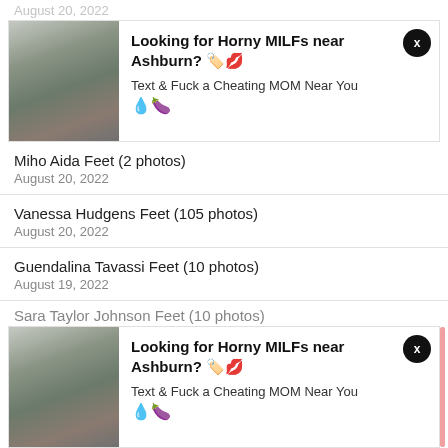August 20, 2022
[Figure (photo): Advertisement banner with woman photo: Looking for Horny MILFs near Ashburn? Text & Fuck a Cheating MOM Near You]
Miho Aida Feet (2 photos)
August 20, 2022
Vanessa Hudgens Feet (105 photos)
August 20, 2022
Guendalina Tavassi Feet (10 photos)
August 19, 2022
Sara Taylor Johnson Feet (10 photos)
[Figure (photo): Second advertisement banner with same woman photo: Looking for Horny MILFs near Ashburn? Text & Fuck a Cheating MOM Near You]
August 19, 2022